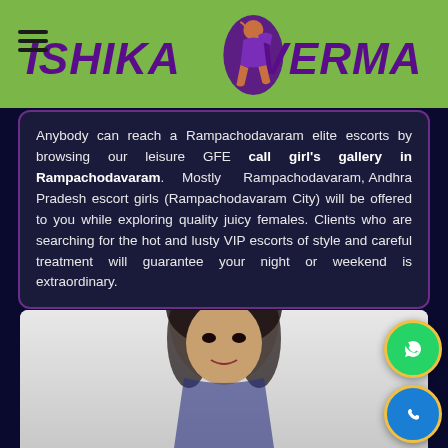ISHIKA VERMA
Anybody can reach a Rampachodavaram elite escorts by browsing our leisure GFE call girl's gallery in Rampachodavaram. Mostly Rampachodavaram, Andhra Pradesh escort girls (Rampachodavaram City) will be offered to you while exploring quality juicy females. Clients who are searching for the hot and lusty VIP escorts of style and careful treatment will guarantee your night or weekend is extraordinary.
[Figure (photo): Photo of a woman with dark hair, partial view from waist up, light background]